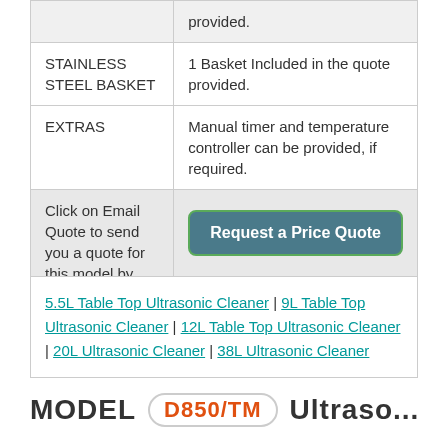|  | provided. |
| STAINLESS STEEL BASKET | 1 Basket Included in the quote provided. |
| EXTRAS | Manual timer and temperature controller can be provided, if required. |
| Click on Email Quote to send you a quote for this model by email | [Request a Price Quote button] |
5.5L Table Top Ultrasonic Cleaner | 9L Table Top Ultrasonic Cleaner | 12L Table Top Ultrasonic Cleaner | 20L Ultrasonic Cleaner | 38L Ultrasonic Cleaner
MODEL D850/TM Ultrasonic...